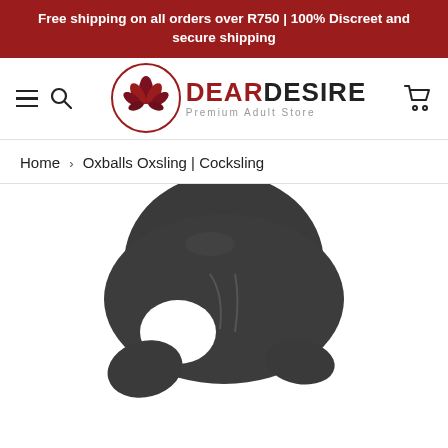Free shipping on all orders over R750 | 100% Discreet and secure shipping
[Figure (logo): Dear Desire Premium Adult Store logo with red lotus flower in circle]
Home > Oxballs Oxsling | Cocksling
[Figure (photo): Dark charcoal/black Oxballs Oxsling cocksling product photo, showing ergonomic ring-shaped adult toy with textured surface]